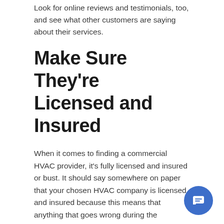Look for online reviews and testimonials, too, and see what other customers are saying about their services.
Make Sure They're Licensed and Insured
When it comes to finding a commercial HVAC provider, it's fully licensed and insured or bust. It should say somewhere on paper that your chosen HVAC company is licensed and insured because this means that anything that goes wrong during the installation will not be your fault. Again, Joe Schmoe is not your friend when it comes to HVAC services. Put your trust and your money in a fully licensed and insured HVAC provider.
Check